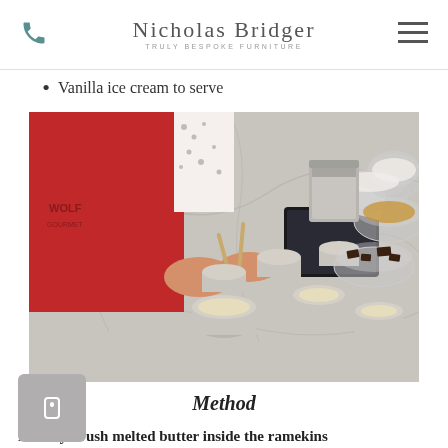Nicholas Bridger — Truly Bespoke Furniture
Vanilla ice cream to serve
[Figure (photo): Person in red apron brushing metal ramekins on a marble countertop, with bowls of chocolate and other ingredients nearby. A tablet device is visible on the counter.]
Method
Heavily brush melted butter inside the ramekins